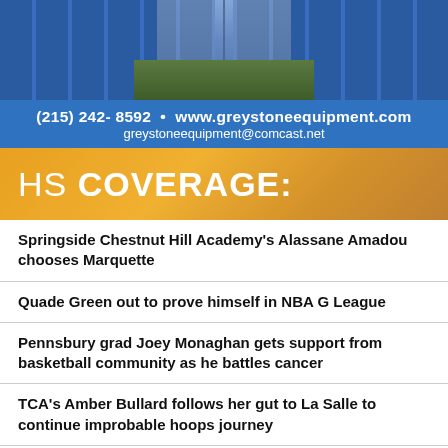[Figure (photo): Blue lockers hallway/corridor photo]
(215) 242- 8592 • www.greystoneequipment.com greystoneequipment@comcast.net
HS COVERAGE:
Springside Chestnut Hill Academy's Alassane Amadou chooses Marquette
Quade Green out to prove himself in NBA G League
Pennsbury grad Joey Monaghan gets support from basketball community as he battles cancer
TCA's Amber Bullard follows her gut to La Salle to continue improbable hoops journey
Imhotep's Rahmir Barno finds his fit in FGCU
Rumph Classic: Late bloomer Jaylen Nixon continues to chase pro dreams
Rumph Classic: Wali Hepburn's story of perseverance continues on